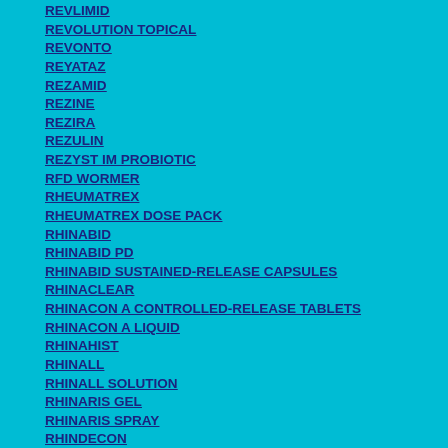REVLIMID
REVOLUTION TOPICAL
REVONTO
REYATAZ
REZAMID
REZINE
REZIRA
REZULIN
REZYST IM PROBIOTIC
RFD WORMER
RHEUMATREX
RHEUMATREX DOSE PACK
RHINABID
RHINABID PD
RHINABID SUSTAINED-RELEASE CAPSULES
RHINACLEAR
RHINACON A CONTROLLED-RELEASE TABLETS
RHINACON A LIQUID
RINAHIST
RHINALL
RHINALL SOLUTION
RHINARIS GEL
RHINARIS SPRAY
RHINDECON
RHINO-MIST SPRAY
RHINOCORT
RHINOCORT AQUA
RHINOCORT AQUA SPRAY
RHINOCORT TURBUHALER
RHINOFLEX
RHINOFLEX 650